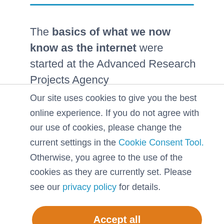The basics of what we now know as the internet were started at the Advanced Research Projects Agency
Our site uses cookies to give you the best online experience. If you do not agree with our use of cookies, please change the current settings in the Cookie Consent Tool. Otherwise, you agree to the use of the cookies as they are currently set. Please see our privacy policy for details.
Accept all
Decline all